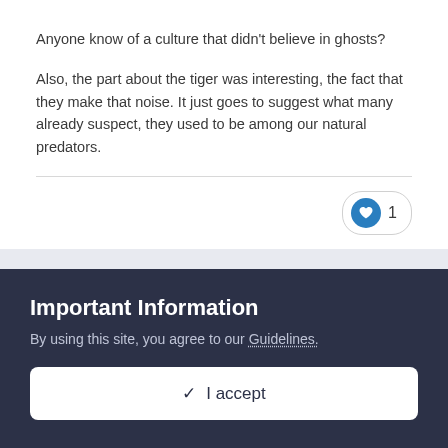Anyone know of a culture that didn't believe in ghosts?
Also, the part about the tiger was interesting, the fact that they make that noise. It just goes to suggest what many already suspect, they used to be among our natural predators.
Thurisaz
Posted July 8, 2013
Silent I think it's time now for me to officially welcome you to the
Important Information
By using this site, you agree to our Guidelines.
✓  I accept